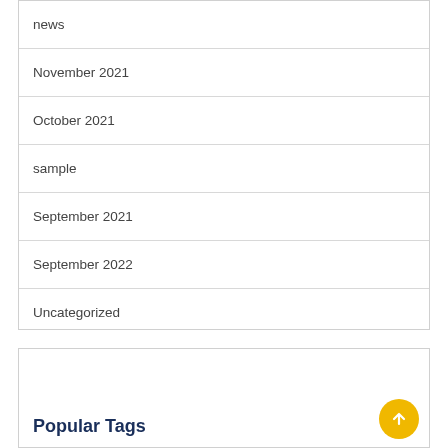news
November 2021
October 2021
sample
September 2021
September 2022
Uncategorized
Popular Tags